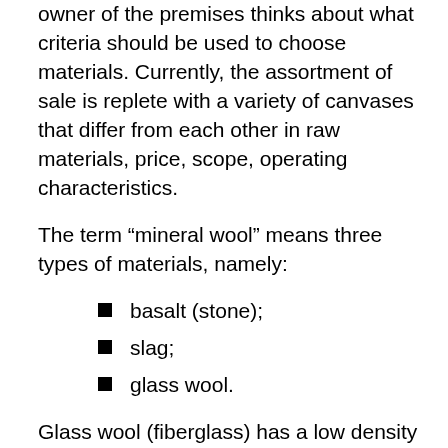owner of the premises thinks about what criteria should be used to choose materials. Currently, the assortment of sale is replete with a variety of canvases that differ from each other in raw materials, price, scope, operating characteristics.
The term “mineral wool” means three types of materials, namely:
basalt (stone);
slag;
glass wool.
Glass wool (fiberglass) has a low density and high hygroscopicity. The material does not have moisture resistance properties, and one should not expect heat resistance from it; when a high